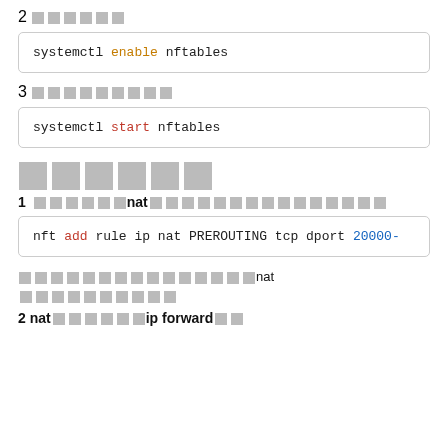2 [squares]
systemctl enable nftables
3 [squares]
systemctl start nftables
[squares]
1 [squares]nat[squares]
nft add rule ip nat PREROUTING tcp dport 20000-
[squares]nat[squares]
2 nat[squares]ip forward[squares]